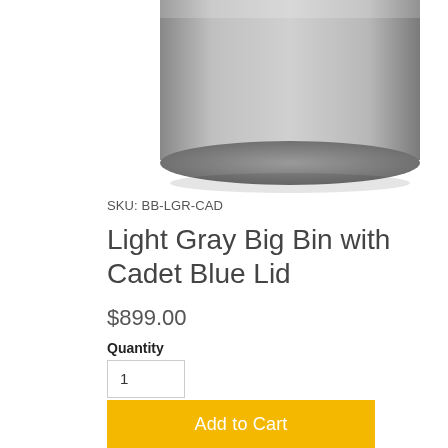[Figure (photo): Bottom portion of a cylindrical container/bin in light gray color, viewed from slightly above, showing the rounded bottom edge. The product is shown against a white background.]
SKU: BB-LGR-CAD
Light Gray Big Bin with Cadet Blue Lid
$899.00
Quantity
1
Add to Cart